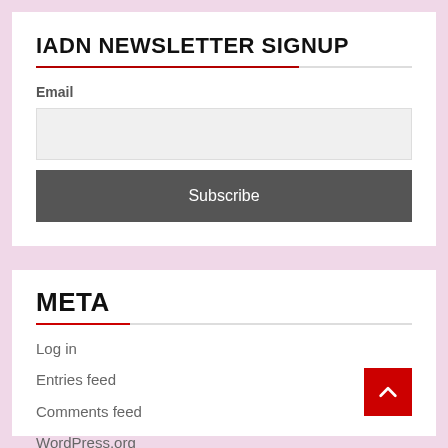IADN NEWSLETTER SIGNUP
Email
Subscribe
META
Log in
Entries feed
Comments feed
WordPress.org